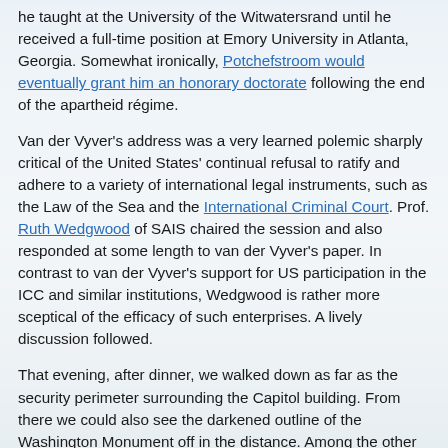he taught at the University of the Witwatersrand until he received a full-time position at Emory University in Atlanta, Georgia. Somewhat ironically, Potchefstroom would eventually grant him an honorary doctorate following the end of the apartheid régime.
Van der Vyver's address was a very learned polemic sharply critical of the United States' continual refusal to ratify and adhere to a variety of international legal instruments, such as the Law of the Sea and the International Criminal Court. Prof. Ruth Wedgwood of SAIS chaired the session and also responded at some length to van der Vyver's paper. In contrast to van der Vyver's support for US participation in the ICC and similar institutions, Wedgwood is rather more sceptical of the efficacy of such enterprises. A lively discussion followed.
That evening, after dinner, we walked down as far as the security perimeter surrounding the Capitol building. From there we could also see the darkened outline of the Washington Monument off in the distance. Among the other buildings of interest we saw during our time in Washington